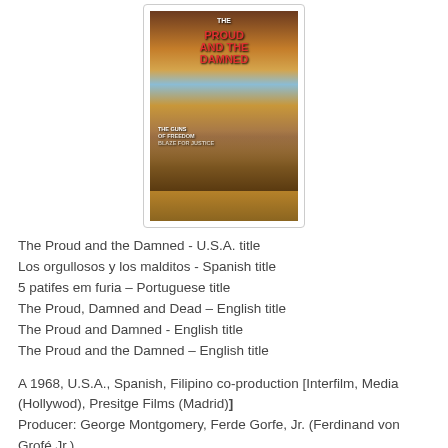[Figure (photo): Movie cover/poster for 'The Proud and the Damned' showing western film imagery with riders on horseback and a man's face at the top. Text reads 'THE GUNS OF FREEDOM BLAZE FOR JUSTICE'.]
The Proud and the Damned - U.S.A. title
Los orgullosos y los malditos - Spanish title
5 patifes em furia – Portuguese title
The Proud, Damned and Dead – English title
The Proud and Damned - English title
The Proud and the Damned – English title
A 1968, U.S.A., Spanish, Filipino co-production [Interfilm, Media (Hollywod), Presitge Films (Madrid)]
Producer: George Montgomery, Ferde Gorfe, Jr. (Ferdinand von Grofé Jr.)
Director: Ferde Grofé Jr. (Ferdinand von Grofé Jr.)
Story: Ferde Grofé Jr. (Ferdinand von Grofé Jr.)
Screenplay: Ferde Grofé Jr. (Ferdinand von Grofé Jr.)